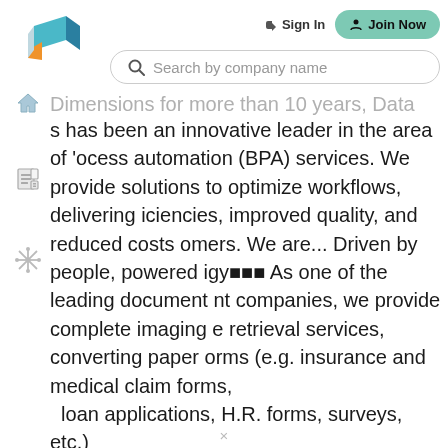[Figure (logo): Stylized 3D cube logo with teal and orange colors]
Sign In   Join Now
[Figure (other): Search bar with placeholder 'Search by company name']
Dimensions for more than 10 years, Data has been an innovative leader in the area of process automation (BPA) services. We provide solutions to optimize workflows, delivering efficiencies, improved quality, and reduced costs for customers. We are... Driven by people, powered by technology... As one of the leading document management companies, we provide complete imaging and retrieval services, converting paper forms (e.g. insurance and medical claim forms, loan applications, H.R. forms, surveys, etc.) or unstructured hardcopy documents (e.g. drawings, diagrams, x-rays, etc.) into electronic documents through